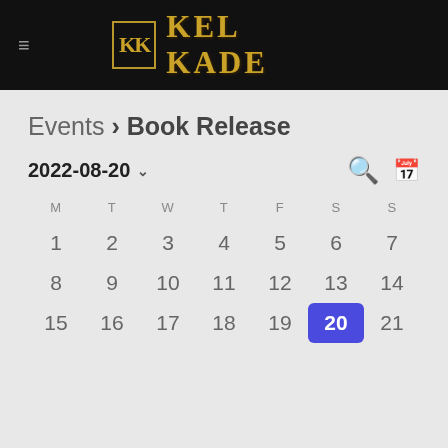KEL KADE
Events › Book Release
2022-08-20
| M | T | W | T | F | S | S |
| --- | --- | --- | --- | --- | --- | --- |
| 1 | 2 | 3 | 4 | 5 | 6 | 7 |
| 8 | 9 | 10 | 11 | 12 | 13 | 14 |
| 15 | 16 | 17 | 18 | 19 | 20 | 21 |